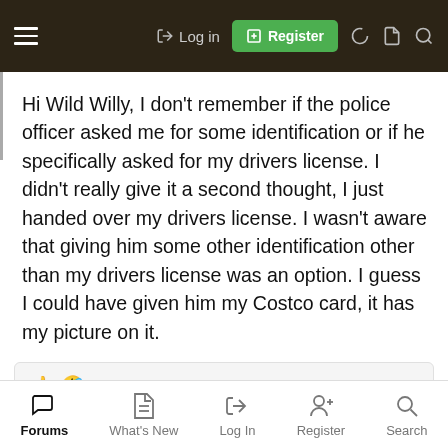Log in  Register
Hi Wild Willy, I don't remember if the police officer asked me for some identification or if he specifically asked for my drivers license. I didn't really give it a second thought, I just handed over my drivers license. I wasn't aware that giving him some other identification other than my drivers license was an option. I guess I could have given him my Costco card, it has my picture on it.
👍 🤣 Ronstar and Mike Hillis
You must log in or register to reply here.
Share:
Forums  What's New  Log In  Register  Search